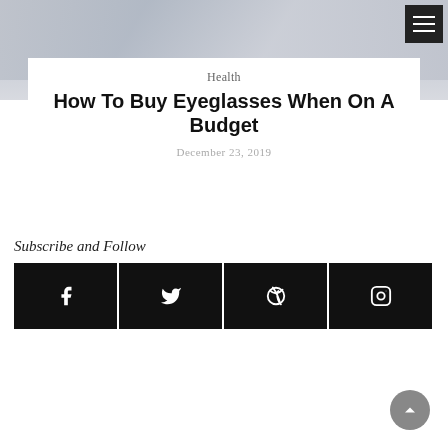[Figure (photo): Hero image at top of page showing a blurred background photo (eyeglasses context)]
Health
How To Buy Eyeglasses When On A Budget
December 23, 2019
Subscribe and Follow
[Figure (infographic): Four black social media icon buttons in a row: Facebook, Twitter, Pinterest, Instagram]
[Figure (other): Gray circular back-to-top button with upward arrow in bottom right corner]